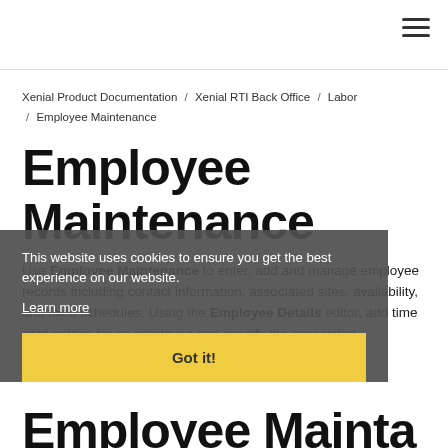☰ (hamburger menu icon)
Xenial Product Documentation / Xenial RTI Back Office / Labor / Employee Maintenance
Employee Maintenance
Use Employee Maintenance to enter, add and manage employee records including contact information, associated sites, availability, and fixed schedules. Using the Employee Details editor, add time card entries for an employee and specify the associated department and pay rate.
This website uses cookies to ensure you get the best experience on our website. Learn more
Got it!
Employee Mainta...